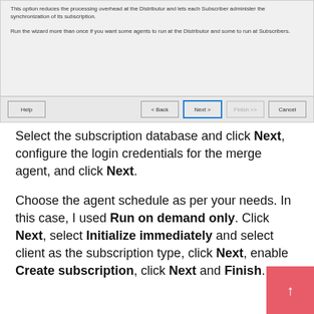[Figure (screenshot): Dialog window showing subscription wizard with text about processing overhead and synchronization. Bottom toolbar has Help, Back, Next (highlighted in blue), Finish (grayed out), and Cancel buttons.]
Select the subscription database and click Next, configure the login credentials for the merge agent, and click Next.
Choose the agent schedule as per your needs. In this case, I used Run on demand only. Click Next, select Initialize immediately and select client as the subscription type, click Next, enable Create subscription, click Next and Finish.